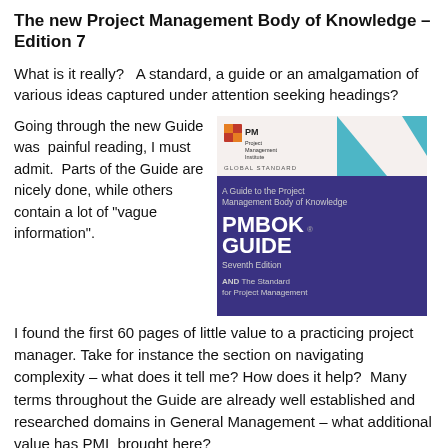The new Project Management Body of Knowledge – Edition 7
What is it really?   A standard, a guide or an amalgamation of various ideas captured under attention seeking headings?
Going through the new Guide was  painful reading, I must admit.  Parts of the Guide are nicely done, while others contain a lot of "vague information".
[Figure (photo): Book cover of PMBOK Guide Seventh Edition by Project Management Institute, showing a purple cover with mountain shapes and text: A Guide to the Project Management Body of Knowledge, PMBOK GUIDE, Seventh Edition, AND The Standard for Project Management]
I found the first 60 pages of little value to a practicing project manager. Take for instance the section on navigating complexity – what does it tell me? How does it help?  Many terms throughout the Guide are already well established and researched domains in General Management – what additional value has PMI  brought here?